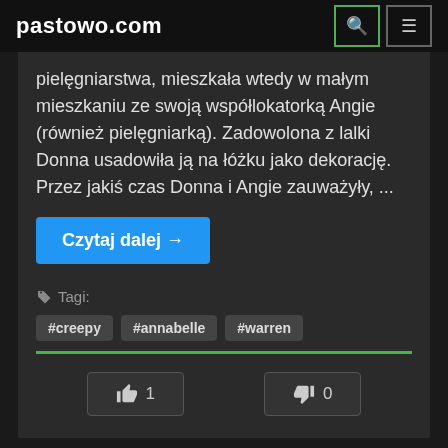pastowo.com
pielęgniarstwa, mieszkała wtedy w małym mieszkaniu ze swoją współlokatorką Angie (również pielęgniarką). Zadowolona z lalki Donna usadowiła ją na łóżku jako dekorację. Przez jakiś czas Donna i Angie zauważyły, ...
Czytaj dalej →
Tagi:
#creepy
#annabelle
#warren
👍 1
👎 0